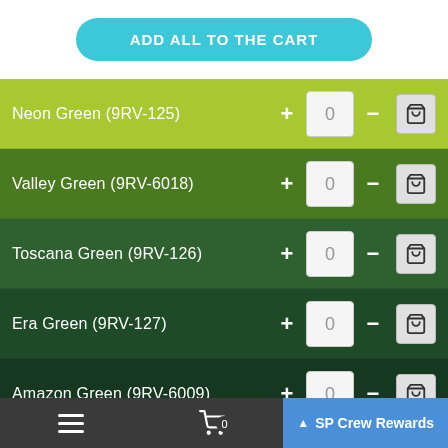ADD ALL TO THE CART
Neon Green (9RV-125) + 0 -
Valley Green (9RV-6018) + 0 -
Toscana Green (9RV-126) + 0 -
Era Green (9RV-127) + 0 -
Amazon Green (9RV-6009) + 0 -
Flash Green (9RV-188) + 0 -
≡  🛒0  ∧ SP Crew Rewards